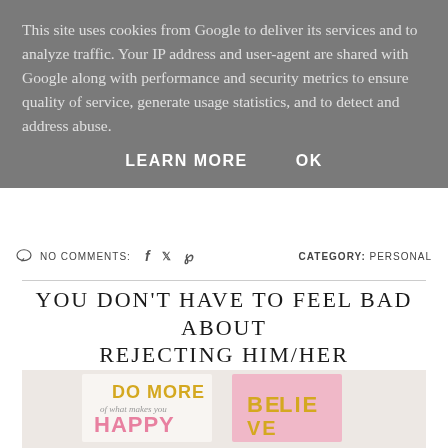This site uses cookies from Google to deliver its services and to analyze traffic. Your IP address and user-agent are shared with Google along with performance and security metrics to ensure quality of service, generate usage statistics, and to detect and address abuse.
LEARN MORE   OK
NO COMMENTS:   CATEGORY: PERSONAL
YOU DON'T HAVE TO FEEL BAD ABOUT REJECTING HIM/HER
Tuesday, 4 July 2017
[Figure (photo): Motivational greeting cards: one white card reading 'DO MORE of what makes you HAPPY' and a pink card partially visible reading 'BE[LIEVE]']